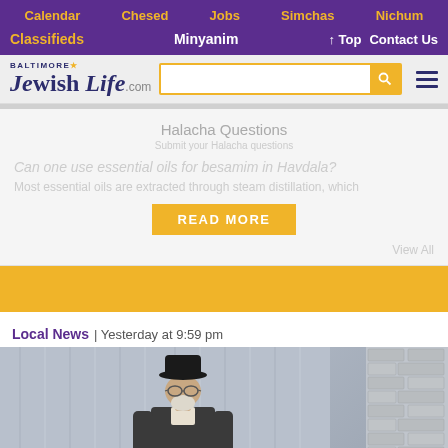Calendar | Chesed | Jobs | Simchas | Nichum
Classifieds | Minyanim | ↑ Top | Contact Us
[Figure (logo): Baltimore Jewish Life .com logo with search box and hamburger menu]
Halacha Questions
Can one use essential oils for besamim in Havdala?
Most essential oils are extracted through steam distillation, which
READ MORE
View All
Local News | Yesterday at 9:59 pm
[Figure (photo): Photo of a rabbi wearing a black hat and glasses, standing in front of a curtain and brick wall]